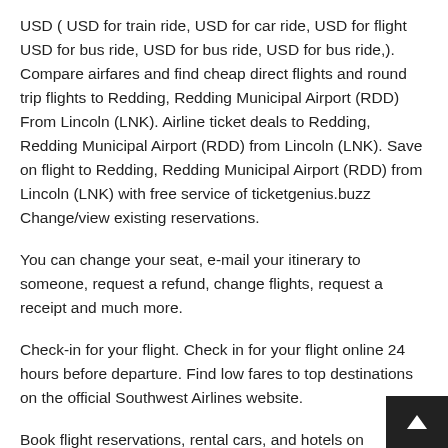USD ( USD for train ride, USD for car ride, USD for flight USD for bus ride, USD for bus ride, USD for bus ride,). Compare airfares and find cheap direct flights and round trip flights to Redding, Redding Municipal Airport (RDD) From Lincoln (LNK). Airline ticket deals to Redding, Redding Municipal Airport (RDD) from Lincoln (LNK). Save on flight to Redding, Redding Municipal Airport (RDD) from Lincoln (LNK) with free service of ticketgenius.buzz Change/view existing reservations.
You can change your seat, e-mail your itinerary to someone, request a refund, change flights, request a receipt and much more.
Check-in for your flight. Check in for your flight online 24 hours before departure. Find low fares to top destinations on the official Southwest Airlines website.
Book flight reservations, rental cars, and hotels on ticketgenius.buzz Tickets & Reservations. Start here to learn more about how and where to get your ticket to ride. Make your trip complete with a hotel, rental car, travel insurance and mo...